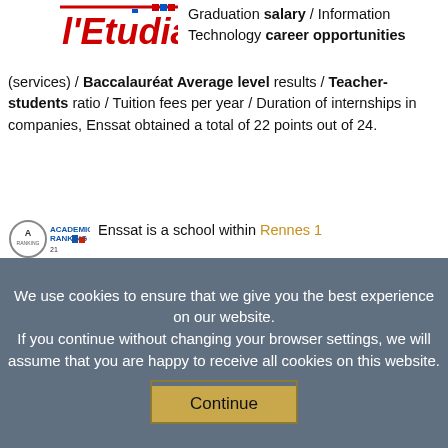[Figure (logo): l'Etudiant logo with red and blue stylized text]
Graduation salary / Information Technology career opportunities (services) / Baccalauréat Average level results / Teacher-students ratio / Tuition fees per year / Duration of internships in companies, Enssat obtained a total of 22 points out of 24.
[Figure (logo): Academic Ranking of 21 logo with circular emblem and blue text]
Enssat is a school within Rennes 1
We use cookies to ensure that we give you the best experience on our website. If you continue without changing your browser settings, we will assume that you are happy to receive all cookies on this website.
Continue